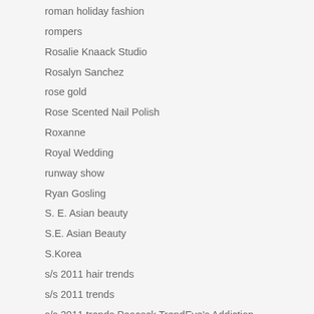roman holiday fashion
rompers
Rosalie Knaack Studio
Rosalyn Sanchez
rose gold
Rose Scented Nail Polish
Roxanne
Royal Wedding
runway show
Ryan Gosling
S. E. Asian beauty
S.E. Asian Beauty
S.Korea
s/s 2011 hair trends
s/s 2011 trends
s/s 2011 trends Peacock TrendEve's Addiction jewelryInterior designForever 21 Jewelryblue green tan